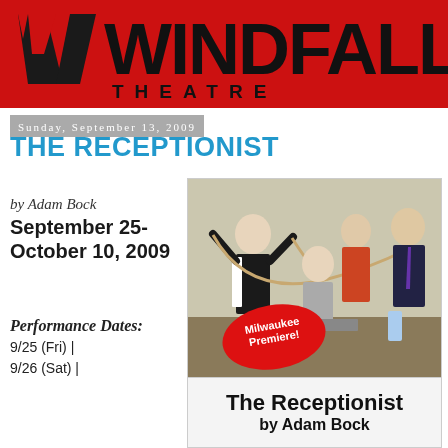[Figure (logo): Windfall Theatre logo on red banner background with stylized W icon and bold WINDFALL text above THEATRE in spaced letters]
Sunday, September 13, 2009
THE RECEPTIONIST
by Adam Bock
September 25-October 10, 2009
Performance Dates:
9/25 (Fri) | 9/26 (Sat) |
[Figure (photo): Photo of four performers in a theatrical scene, one person seated with ropes around them while others interact around them, with a red oval badge reading Milwaukee Premiere!]
The Receptionist
by Adam Bock